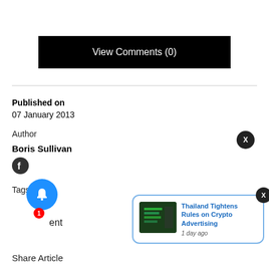View Comments (0)
Published on
07 January 2013
Author
Boris Sullivan
Tags
ent
Share Article
Thailand Tightens Rules on Crypto Advertising
1 day ago